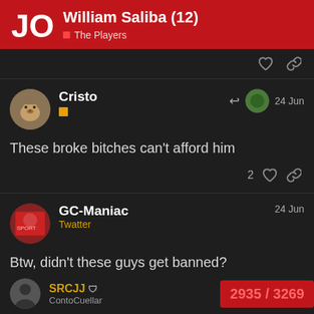William Saliba (12) — The Players
Cristo 24 Jun — These broke bitches can't afford him
GC-Maniac Twatter 24 Jun — Btw, didn't these guys get banned?
SRCJJ — 2935 / 3269